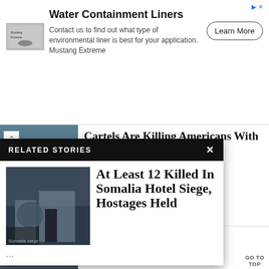[Figure (screenshot): Advertisement banner for Water Containment Liners by Mustang Extreme with Learn More button]
Water Containment Liners
Contact us to find out what type of environmental liner is best for your application. Mustang Extreme
Learn More
[Figure (photo): Blue powdery substance photo related to fentanyl article]
Cartels Are Killing Americans With Fentanyl At ‘Record Rates’
AUGUST 19, 2022
Man Accused Of Murdering ...d Who ...bortion
[Figure (photo): Armed military vehicles at a hotel siege in Somalia]
At Least 12 Killed In Somalia Hotel Siege, Hostages Held
...
...n Rented ...Convicted Cocaine Trafficker, Record ...
RELATED STORIES
GO TO TOP